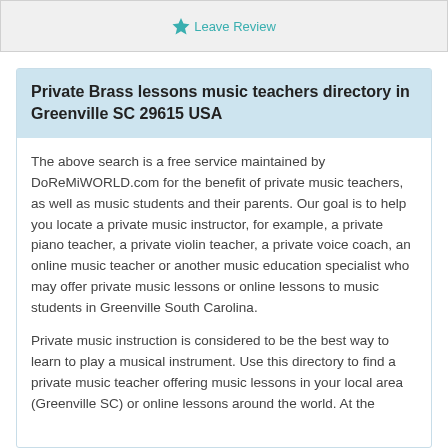[Figure (other): Top bar with star icon and Leave Review link]
Private Brass lessons music teachers directory in Greenville SC 29615 USA
The above search is a free service maintained by DoReMiWORLD.com for the benefit of private music teachers, as well as music students and their parents. Our goal is to help you locate a private music instructor, for example, a private piano teacher, a private violin teacher, a private voice coach, an online music teacher or another music education specialist who may offer private music lessons or online lessons to music students in Greenville South Carolina.
Private music instruction is considered to be the best way to learn to play a musical instrument. Use this directory to find a private music teacher offering music lessons in your local area (Greenville SC) or online lessons around the world. At the